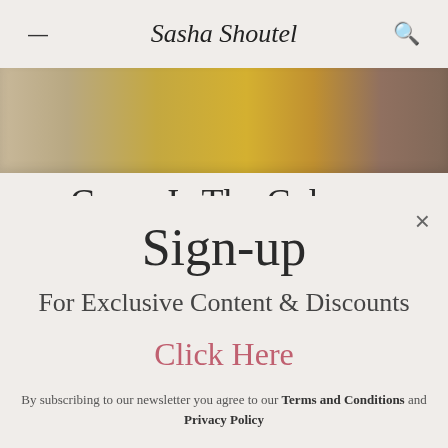≡  Sasha Shoutel  🔍
[Figure (photo): Partial view of outdoor scene with yellow chair and textured surface in warm tones]
Green Is The Colour- Stepping Out In Chi Chi Clothing
× (close button)
Sign-up
For Exclusive Content & Discounts
Click Here
By subscribing to our newsletter you agree to our Terms and Conditions and Privacy Policy